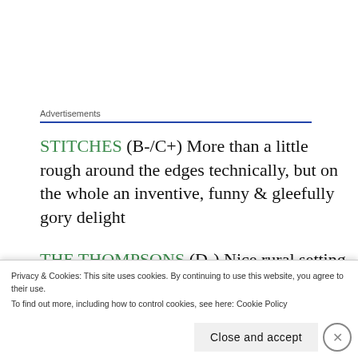Advertisements
STITCHES (B-/C+) More than a little rough around the edges technically, but on the whole an inventive, funny & gleefully gory delight
THE THOMPSONS (D-) Nice rural setting, but standalone blood-sucking mythology is wispy & forgettable, + some terrible secondary performances
Privacy & Cookies: This site uses cookies. By continuing to use this website, you agree to their use.
To find out more, including how to control cookies, see here: Cookie Policy
Close and accept